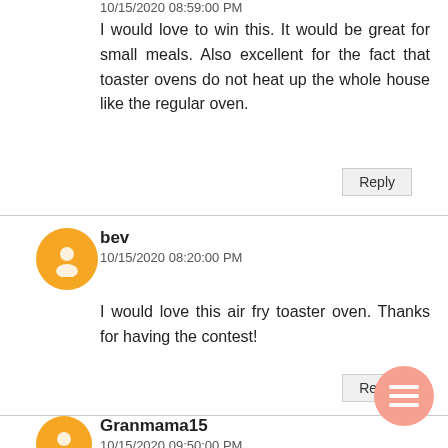10/15/2020 08:59:00 PM
I would love to win this. It would be great for small meals. Also excellent for the fact that toaster ovens do not heat up the whole house like the regular oven.
Reply
bev
10/15/2020 08:20:00 PM
I would love this air fry toaster oven. Thanks for having the contest!
Reply
Granmama15
10/15/2020 09:50:00 PM